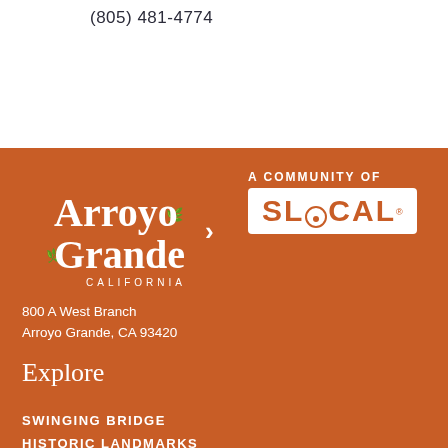(805) 481-4774
[Figure (logo): Arroyo Grande California logo with leaf decorations in white on orange background, next to SLO CAL logo in white box, connected by arrow]
800 A West Branch
Arroyo Grande, CA 93420
Explore
SWINGING BRIDGE
HISTORIC LANDMARKS